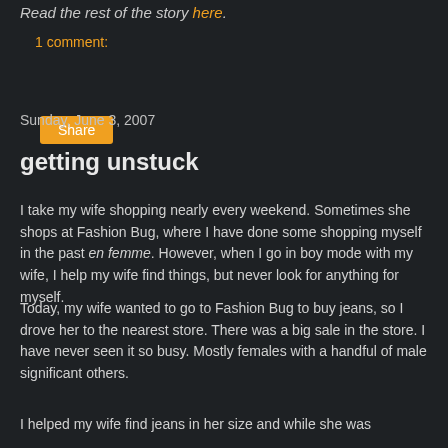Read the rest of the story here.
1 comment:
Share
Sunday, June 3, 2007
getting unstuck
I take my wife shopping nearly every weekend. Sometimes she shops at Fashion Bug, where I have done some shopping myself in the past en femme. However, when I go in boy mode with my wife, I help my wife find things, but never look for anything for myself.
Today, my wife wanted to go to Fashion Bug to buy jeans, so I drove her to the nearest store. There was a big sale in the store. I have never seen it so busy. Mostly females with a handful of male significant others.
I helped my wife find jeans in her size and while she was